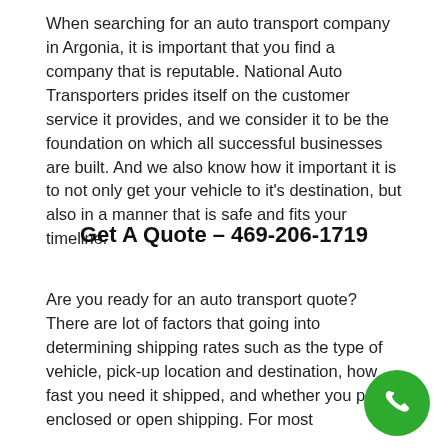When searching for an auto transport company in Argonia, it is important that you find a company that is reputable. National Auto Transporters prides itself on the customer service it provides, and we consider it to be the foundation on which all successful businesses are built. And we also know how it important it is to not only get your vehicle to it's destination, but also in a manner that is safe and fits your timeline.
Get A Quote – 469-206-1719
Are you ready for an auto transport quote? There are lot of factors that going into determining shipping rates such as the type of vehicle, pick-up location and destination, how fast you need it shipped, and whether you prefer enclosed or open shipping. For most